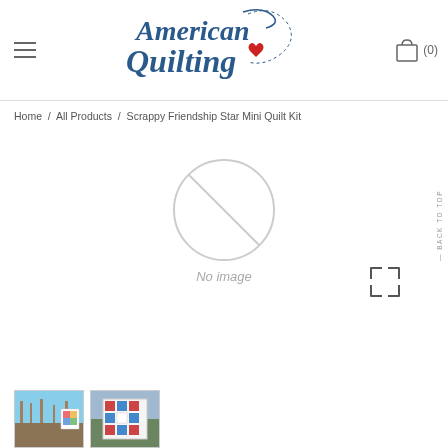[Figure (logo): American Quilting logo with cursive text and heart graphic]
Home / All Products / Scrappy Friendship Star Mini Quilt Kit
[Figure (illustration): No image placeholder - circular icon with diagonal line]
No image
[Figure (photo): Thumbnail 1: outdoor scene with quilt]
[Figure (photo): Thumbnail 2: Scrappy Friendship Star Mini Quilt displayed]